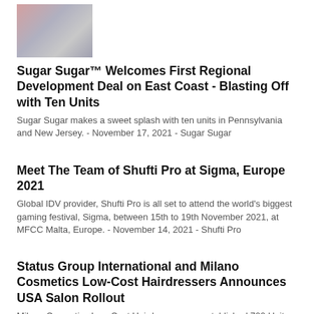[Figure (photo): Small thumbnail photo of people, appears to be a wedding or event photo with two individuals visible]
Sugar Sugar™ Welcomes First Regional Development Deal on East Coast - Blasting Off with Ten Units
Sugar Sugar makes a sweet splash with ten units in Pennsylvania and New Jersey. - November 17, 2021 - Sugar Sugar
Meet The Team of Shufti Pro at Sigma, Europe 2021
Global IDV provider, Shufti Pro is all set to attend the world's biggest gaming festival, Sigma, between 15th to 19th November 2021, at MFCC Malta, Europe. - November 14, 2021 - Shufti Pro
Status Group International and Milano Cosmetics Low-Cost Hairdressers Announces USA Salon Rollout
Milano Cosmetics Low-Cost Hairdressers, an established 700 Unit EU franchise, has partnered with Status Group International, a global